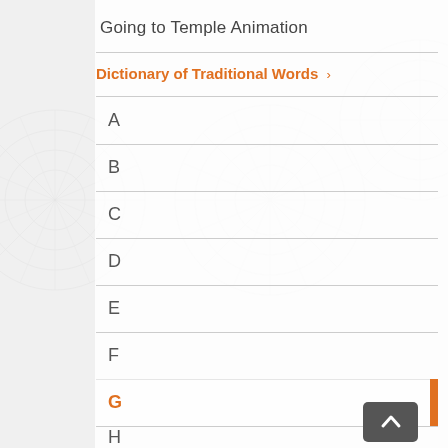Going to Temple Animation
Dictionary of Traditional Words ›
A
B
C
D
E
F
G
H
I